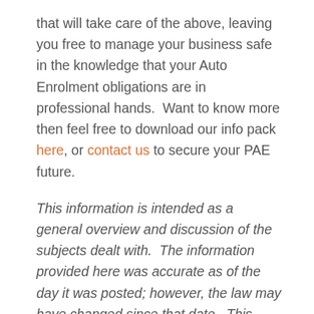that will take care of the above, leaving you free to manage your business safe in the knowledge that your Auto Enrolment obligations are in professional hands.  Want to know more then feel free to download our info pack here, or contact us to secure your PAE future.
This information is intended as a general overview and discussion of the subjects dealt with.  The information provided here was accurate as of the day it was posted; however, the law may have changed since that date.  This information is not intended to be, and should not be used as, a